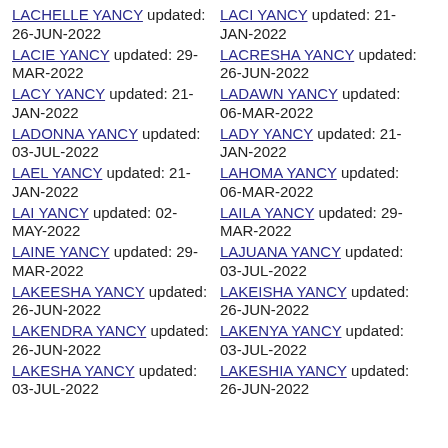LACHELLE YANCY updated: 26-JUN-2022
LACIE YANCY updated: 29-MAR-2022
LACY YANCY updated: 21-JAN-2022
LADONNA YANCY updated: 03-JUL-2022
LAEL YANCY updated: 21-JAN-2022
LAI YANCY updated: 02-MAY-2022
LAINE YANCY updated: 29-MAR-2022
LAKEESHA YANCY updated: 26-JUN-2022
LAKENDRA YANCY updated: 26-JUN-2022
LAKESHA YANCY updated: 03-JUL-2022
LACI YANCY updated: 21-JAN-2022
LACRESHA YANCY updated: 26-JUN-2022
LADAWN YANCY updated: 06-MAR-2022
LADY YANCY updated: 21-JAN-2022
LAHOMA YANCY updated: 06-MAR-2022
LAILA YANCY updated: 29-MAR-2022
LAJUANA YANCY updated: 03-JUL-2022
LAKEISHA YANCY updated: 26-JUN-2022
LAKENYA YANCY updated: 03-JUL-2022
LAKESHIA YANCY updated: 26-JUN-2022